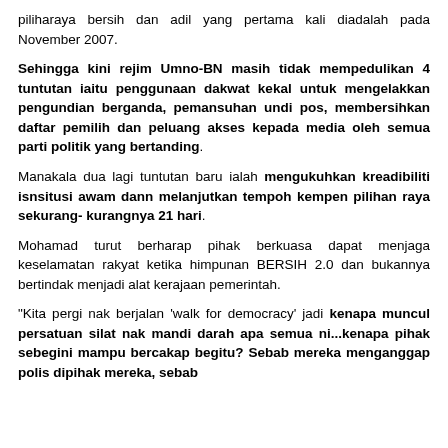piliharaya bersih dan adil yang pertama kali diadalah pada November 2007.
Sehingga kini rejim Umno-BN masih tidak mempedulikan 4 tuntutan iaitu penggunaan dakwat kekal untuk mengelakkan pengundian berganda, pemansuhan undi pos, membersihkan daftar pemilih dan peluang akses kepada media oleh semua parti politik yang bertanding.
Manakala dua lagi tuntutan baru ialah mengukuhkan kreadibiliti isnsitusi awam dann melanjutkan tempoh kempen pilihan raya sekurang- kurangnya 21 hari.
Mohamad turut berharap pihak berkuasa dapat menjaga keselamatan rakyat ketika himpunan BERSIH 2.0 dan bukannya bertindak menjadi alat kerajaan pemerintah.
"Kita pergi nak berjalan 'walk for democracy' jadi kenapa muncul persatuan silat nak mandi darah apa semua ni...kenapa pihak sebegini mampu bercakap begitu? Sebab mereka menganggap polis dipihak mereka, sebab